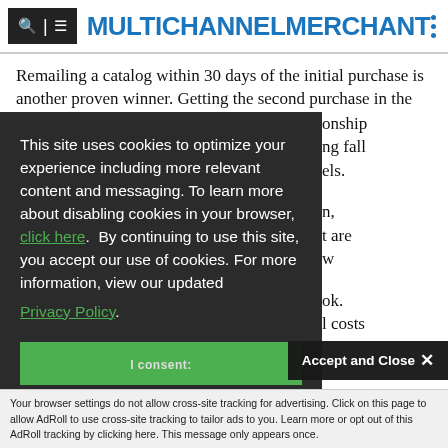MULTICHANNEL MERCHANT
Remailing a catalog within 30 days of the initial purchase is another proven winner. Getting the second purchase in the...
This site uses cookies to optimize your experience including more relevant content and messaging. To learn more about disabling cookies in your browser, click here.  By continuing to use this site, you accept our use of cookies. For more information, view our updated Privacy Policy.
Accept and Close ×
Your browser settings do not allow cross-site tracking for advertising. Click on this page to allow AdRoll to use cross-site tracking to tailor ads to you. Learn more or opt out of this AdRoll tracking by clicking here. This message only appears once.